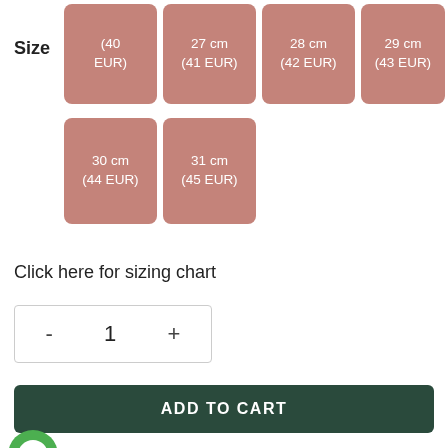Size
(40 EUR)
27 cm (41 EUR)
28 cm (42 EUR)
29 cm (43 EUR)
30 cm (44 EUR)
31 cm (45 EUR)
Click here for sizing chart
- 1 +
ADD TO CART
[Figure (logo): WhatsApp green circular icon button]